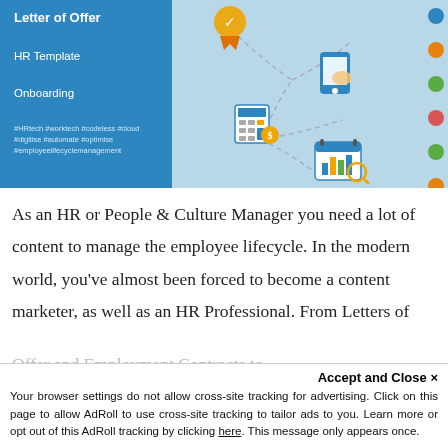[Figure (illustration): HR template banner with blue left panel showing 'Letter of Offer', 'HR Template', 'Onboarding' and hashtags, and a light blue right area with illustrated icons (badge, phone, calculator, calendar/chart) connected by dashed lines, with colored dots on the far right (blue, orange, green, red/heart, green, orange, blue).]
As an HR or People & Culture Manager you need a lot of content to manage the employee lifecycle. In the modern world, you've almost been forced to become a content marketer, as well as an HR Professional. From Letters of
Offer and Employment Contracts to...
Accept and Close ×
Your browser settings do not allow cross-site tracking for advertising. Click on this page to allow AdRoll to use cross-site tracking to tailor ads to you. Learn more or opt out of this AdRoll tracking by clicking here. This message only appears once.